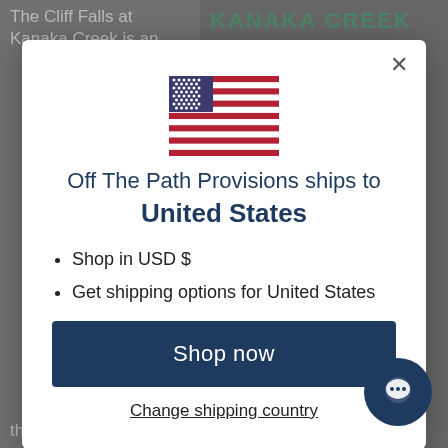The Cliff Falls at Kanaka Creek is an
KANAKA CREEK
[Figure (illustration): US flag SVG illustration]
Off The Path Provisions ships to United States
Shop in USD $
Get shipping options for United States
Shop now
Change shipping country
the creek pools. If
MINIMAL